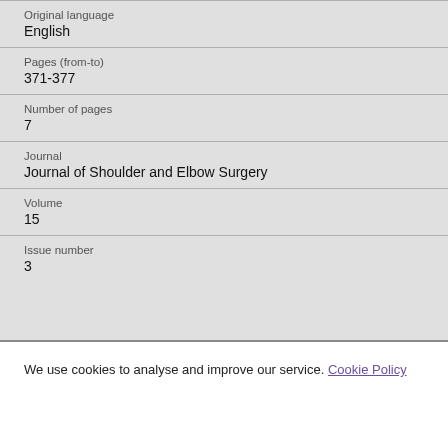Original language
English
Pages (from-to)
371-377
Number of pages
7
Journal
Journal of Shoulder and Elbow Surgery
Volume
15
Issue number
3
We use cookies to analyse and improve our service. Cookie Policy